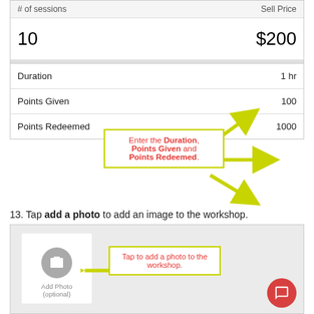| # of sessions | Sell Price |
| --- | --- |
| 10 | $200 |
| Duration | 1 hr |
| Points Given | 100 |
| Points Redeemed | 1000 |
[Figure (screenshot): Callout box with arrows pointing to Duration, Points Given, and Points Redeemed fields. Text reads: Enter the Duration, Points Given and Points Redeemed.]
13. Tap add a photo to add an image to the workshop.
[Figure (screenshot): App screenshot showing Add Photo (optional) button with camera icon. Callout box says: Tap to add a photo to the workshop.]